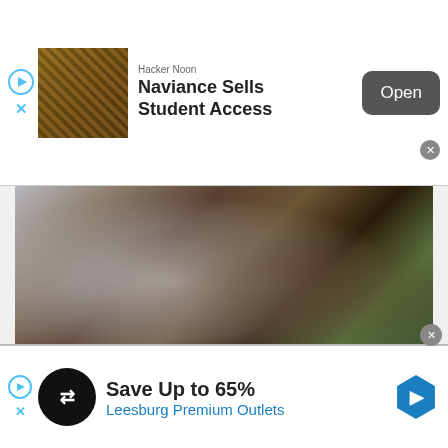[Figure (screenshot): Top advertisement banner for Hacker Noon article 'Naviance Sells Student Access' with thumbnail image, Open button, and close controls]
[Figure (photo): Close-up food photograph showing a silver fork on a dark wooden plate with green vegetables and mushrooms]
And this crispy Blackened Maitake ‘Breast’ also elevates mushrooms to a whole new level — and it takes only seven ingredients to make.
[Figure (screenshot): Bottom advertisement banner: Save Up to 65% at Leesburg Premium Outlets, with logo, play/close controls, and blue navigation arrow]